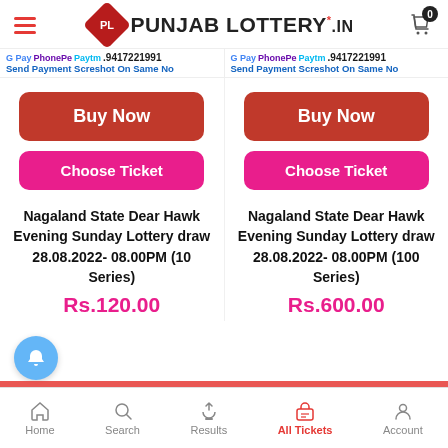Punjab Lottery.in
G Pay PhonePe Paytm .9417221991 Send Payment Screshot On Same No
G Pay PhonePe Paytm .9417221991 Send Payment Screshot On Same No
Buy Now
Buy Now
Choose Ticket
Choose Ticket
Nagaland State Dear Hawk Evening Sunday Lottery draw 28.08.2022- 08.00PM (10 Series)
Nagaland State Dear Hawk Evening Sunday Lottery draw 28.08.2022- 08.00PM (100 Series)
Rs.120.00
Rs.600.00
Home Search Results All Tickets Account